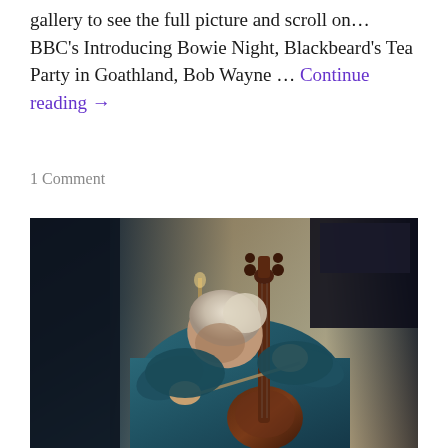gallery to see the full picture and scroll on… BBC's Introducing Bowie Night, Blackbeard's Tea Party in Goathland, Bob Wayne … Continue reading →
1 Comment
[Figure (photo): A musician with light-colored hair wearing a blue shirt, bent over playing a stringed instrument (appears to be a rebab or similar folk instrument with decorative scroll and pegs at top and a rounded body at bottom). The photo is taken in a dimly lit venue with dark background and a cream/tan wall. The musician is concentrating intensely on playing.]